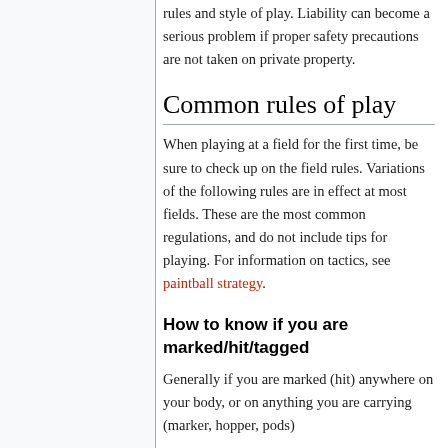rules and style of play. Liability can become a serious problem if proper safety precautions are not taken on private property.
Common rules of play
When playing at a field for the first time, be sure to check up on the field rules. Variations of the following rules are in effect at most fields. These are the most common regulations, and do not include tips for playing. For information on tactics, see paintball strategy.
How to know if you are marked/hit/tagged
Generally if you are marked (hit) anywhere on your body, or on anything you are carrying (marker, hopper, pods)